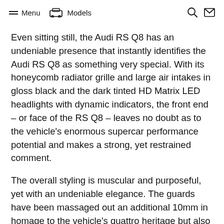Menu   Models
Even sitting still, the Audi RS Q8 has an undeniable presence that instantly identifies the Audi RS Q8 as something very special. With its honeycomb radiator grille and large air intakes in gloss black and the dark tinted HD Matrix LED headlights with dynamic indicators, the front end – or face of the RS Q8 – leaves no doubt as to the vehicle's enormous supercar performance potential and makes a strong, yet restrained comment.
The overall styling is muscular and purposeful, yet with an undeniable elegance. The guards have been massaged out an additional 10mm in homage to the vehicle's quattro heritage but also to accommodate the 23-inch alloy wheels. While on the rear, the bold RS-specific diffuser and distinctive